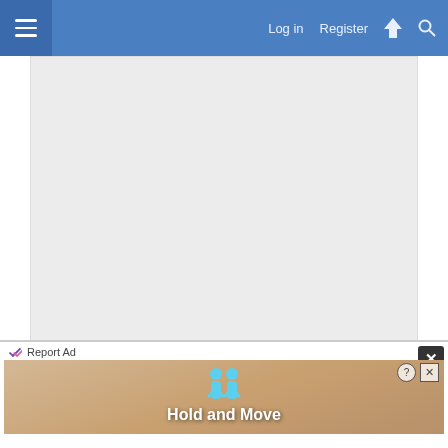Log in   Register
[Figure (screenshot): Advertisement placeholder area with light gray background]
Report Ad
2 Feb 2022   #4
David P
Member  UKW Supporter
[Figure (screenshot): Bottom ad overlay: Report Ad label, close X button, Hold and Move game advertisement with blue figures]